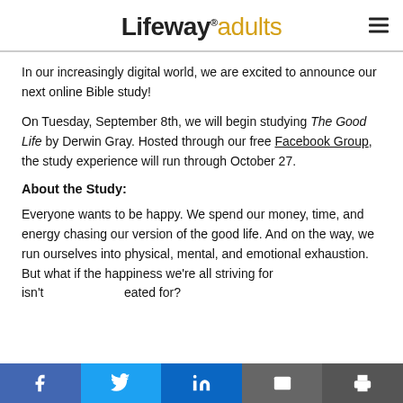Lifeway. adults
In our increasingly digital world, we are excited to announce our next online Bible study!
On Tuesday, September 8th, we will begin studying The Good Life by Derwin Gray. Hosted through our free Facebook Group, the study experience will run through October 27.
About the Study:
Everyone wants to be happy. We spend our money, time, and energy chasing our version of the good life. And on the way, we run ourselves into physical, mental, and emotional exhaustion. But what if the happiness we're all striving for isn't what we were created for?